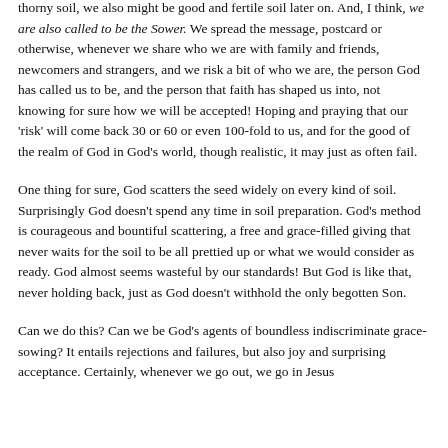thorny soil, we also might be good and fertile soil later on.  And, I think, we are also called to be the Sower.  We spread the message, postcard or otherwise, whenever we share who we are with family and friends, newcomers and strangers, and we risk a bit of who we are, the person God has called us to be, and the person that faith has shaped us into, not knowing for sure how we will be accepted!  Hoping and praying that our 'risk' will come back 30 or 60 or even 100-fold to us, and for the good of the realm of God in God's world, though realistic, it may just as often fail.
One thing for sure, God scatters the seed widely on every kind of soil.  Surprisingly God doesn't spend any time in soil preparation.  God's method is courageous and bountiful scattering, a free and grace-filled giving that never waits for the soil to be all prettied up or what we would consider as ready.  God almost seems wasteful by our standards!  But God is like that, never holding back, just as God doesn't withhold the only begotten Son.
Can we do this?  Can we be God's agents of boundless indiscriminate grace-sowing?  It entails rejections and failures, but also joy and surprising acceptance.  Certainly, whenever we go out, we go in Jesus